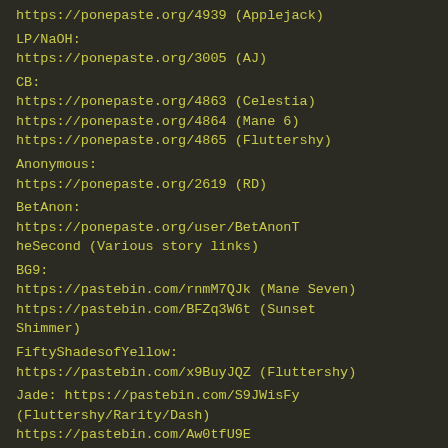https://ponepaste.org/4939 (Applejack)
LP/NaOH:
https://ponepaste.org/3005 (AJ)
CB:
https://ponepaste.org/4863 (Celestia)
https://ponepaste.org/4864 (Mane 6)
https://ponepaste.org/4865 (Fluttershy)
Anonymous:
https://ponepaste.org/2619 (RD)
BetAnon:
https://ponepaste.org/user/BetAnonTheSecond (Various story links)
BG9:
https://pastebin.com/rnmM7QJk (Mane Seven)
https://pastebin.com/BFZq3W6t (Sunset Shimmer)
FiftyShadesofYellow:
https://pastebin.com/x9BuyJQZ (Fluttershy)
Jade: https://pastebin.com/S9JWisFy (Fluttershy/Rarity/Dash)
https://pastebin.com/Aw0tfU9E